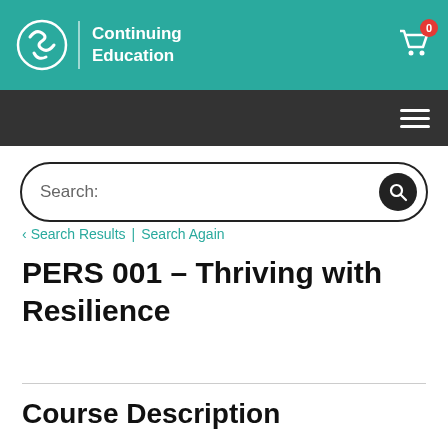SAIT Continuing Education
[Figure (screenshot): SAIT Continuing Education logo with teal header bar and hamburger navigation menu]
Search:
< Search Results | Search Again
PERS 001 – Thriving with Resilience
Course Description